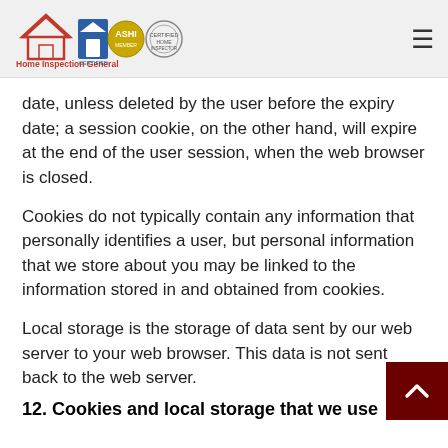Home Inspection General
date, unless deleted by the user before the expiry date; a session cookie, on the other hand, will expire at the end of the user session, when the web browser is closed.
Cookies do not typically contain any information that personally identifies a user, but personal information that we store about you may be linked to the information stored in and obtained from cookies.
Local storage is the storage of data sent by our web server to your web browser. This data is not sent back to the web server.
12. Cookies and local storage that we use